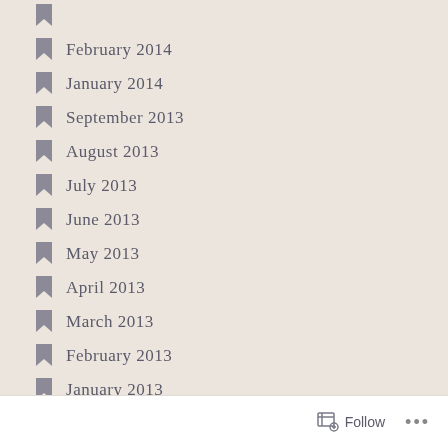February 2014
January 2014
September 2013
August 2013
July 2013
June 2013
May 2013
April 2013
March 2013
February 2013
January 2013
December 2012
November 2012
October 2012
August 2012
May 2012
Follow